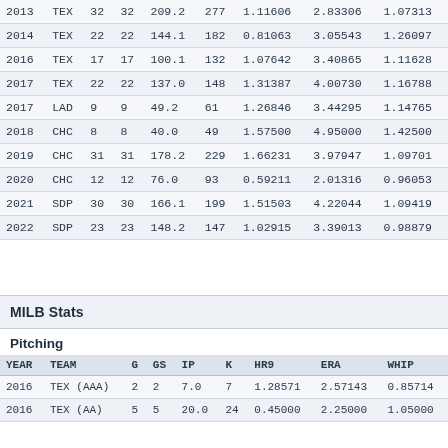| YEAR | TEAM | G | GS | IP | K | HR9 | ERA | WHIP |
| --- | --- | --- | --- | --- | --- | --- | --- | --- |
| 2013 | TEX | 32 | 32 | 209.2 | 277 | 1.11606 | 2.83306 | 1.07313 |
| 2014 | TEX | 22 | 22 | 144.1 | 182 | 0.81063 | 3.05543 | 1.26097 |
| 2016 | TEX | 17 | 17 | 100.1 | 132 | 1.07642 | 3.40865 | 1.11628 |
| 2017 | TEX | 22 | 22 | 137.0 | 148 | 1.31387 | 4.00730 | 1.16788 |
| 2017 | LAD | 9 | 9 | 49.2 | 61 | 1.26846 | 3.44295 | 1.14765 |
| 2018 | CHC | 8 | 8 | 40.0 | 49 | 1.57500 | 4.95000 | 1.42500 |
| 2019 | CHC | 31 | 31 | 178.2 | 229 | 1.66231 | 3.97947 | 1.09701 |
| 2020 | CHC | 12 | 12 | 76.0 | 93 | 0.59211 | 2.01316 | 0.96053 |
| 2021 | SDP | 30 | 30 | 166.1 | 199 | 1.51503 | 4.22044 | 1.09419 |
| 2022 | SDP | 23 | 23 | 148.2 | 147 | 1.02915 | 3.39013 | 0.98879 |
MILB Stats
Pitching
| YEAR | TEAM | G | GS | IP | K | HR9 | ERA | WHIP |
| --- | --- | --- | --- | --- | --- | --- | --- | --- |
| 2016 | TEX (AAA) | 2 | 2 | 7.0 | 7 | 1.28571 | 2.57143 | 0.85714 |
| 2016 | TEX (AA) | 5 | 5 | 20.0 | 24 | 0.45000 | 2.25000 | 1.05000 |